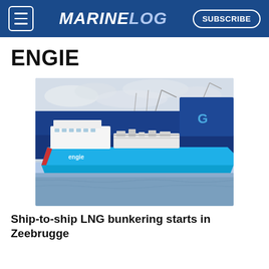MARINELOG | SUBSCRIBE
ENGIE
[Figure (photo): An ENGIE-branded blue LNG bunkering vessel docked alongside a large blue cargo/LNG ship in a port, with grey overcast sky and calm water in the foreground.]
Ship-to-ship LNG bunkering starts in Zeebrugge